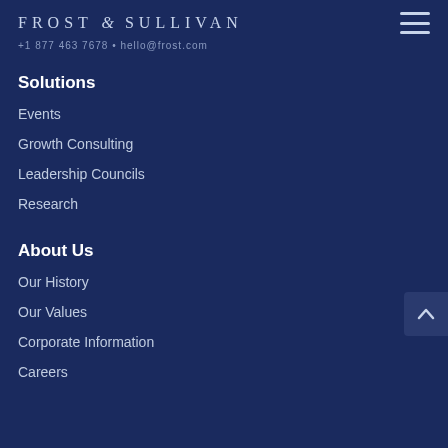FROST & SULLIVAN
+1 877 463 7678 • hello@frost.com
Solutions
Events
Growth Consulting
Leadership Councils
Research
About Us
Our History
Our Values
Corporate Information
Careers